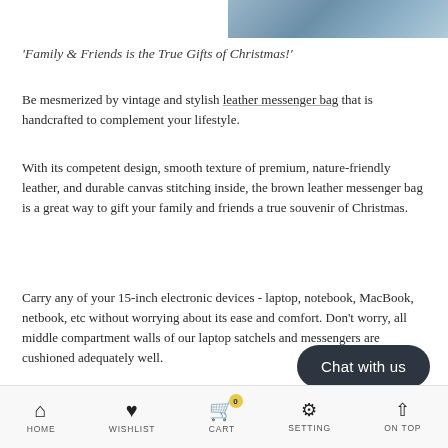[Figure (photo): Partial photo of a textured blue-grey fabric or leather surface visible at the top right of the page.]
'Family & Friends is the True Gifts of Christmas!'
Be mesmerized by vintage and stylish leather messenger bag that is handcrafted to complement your lifestyle.
With its competent design, smooth texture of premium, nature-friendly leather, and durable canvas stitching inside, the brown leather messenger bag is a great way to gift your family and friends a true souvenir of Christmas.
Carry any of your 15-inch electronic devices - laptop, notebook, MacBook, netbook, etc without worrying about its ease and comfort. Don't worry, all middle compartment walls of our laptop satchels and messengers are cushioned adequately well.
HOME  WISHLIST  CART  SETTING  ON TOP